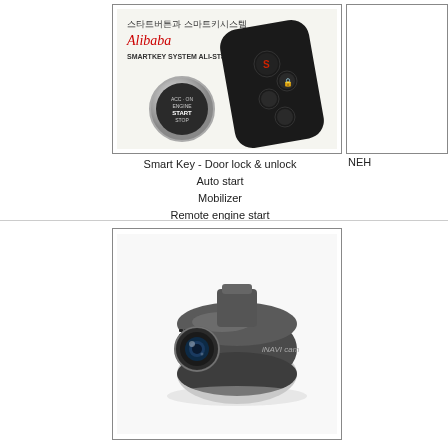[Figure (photo): Smart key system product photo showing a remote control fob and push-start button. Korean text and 'Alibaba SMARTKEY SYSTEM ALI-ST800' branding visible.]
Smart Key - Door lock & unlock
Auto start
Mobilizer
Remote engine start
NEH
[Figure (photo): Dashcam / in-car camera product photo showing a cylindrical dark grey camera device with a lens.]